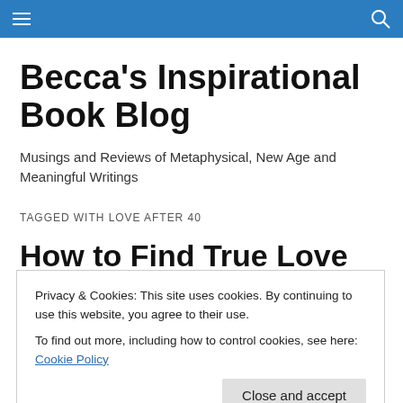Becca's Inspirational Book Blog – navigation bar
Becca's Inspirational Book Blog
Musings and Reviews of Metaphysical, New Age and Meaningful Writings
TAGGED WITH LOVE AFTER 40
How to Find True Love by
Privacy & Cookies: This site uses cookies. By continuing to use this website, you agree to their use. To find out more, including how to control cookies, see here: Cookie Policy
[Figure (screenshot): Blue banner image at bottom with cursive text 'How to Get']